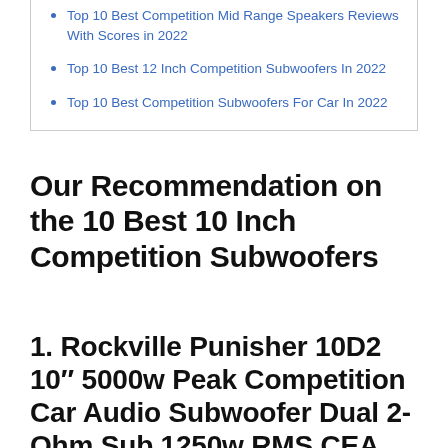Top 10 Best Competition Mid Range Speakers Reviews With Scores in 2022
Top 10 Best 12 Inch Competition Subwoofers In 2022
Top 10 Best Competition Subwoofers For Car In 2022
Our Recommendation on the 10 Best 10 Inch Competition Subwoofers
1. Rockville Punisher 10D2 10″ 5000w Peak Competition Car Audio Subwoofer Dual 2-Ohm Sub 1250w RMS CEA Rated